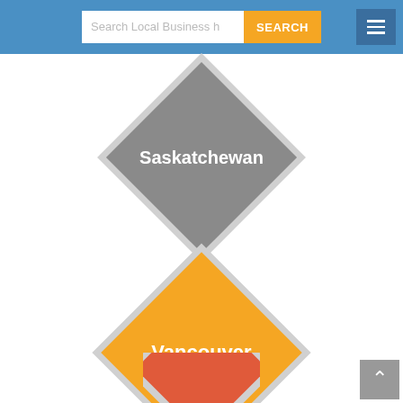[Figure (screenshot): Website screenshot showing a search bar with 'Search Local Business h' placeholder text and a yellow 'SEARCH' button, plus a hamburger menu button on the right, all on a blue header bar. Below are diamond/rotated square shaped navigation tiles: a gray 'Saskatchewan' tile, a yellow/gold 'Vancouver' tile, and a partially visible red tile at the bottom.]